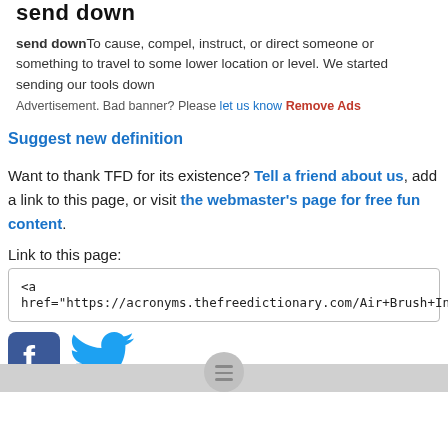send down
send downTo cause, compel, instruct, or direct someone or something to travel to some lower location or level. We started sending our tools down
Advertisement. Bad banner? Please let us know Remove Ads
Suggest new definition
Want to thank TFD for its existence? Tell a friend about us, add a link to this page, or visit the webmaster's page for free fun content.
Link to this page:
<a href="https://acronyms.thefreedictionary.com/Air+Brush+Ink">ABI</a>
[Figure (logo): Facebook and Twitter social media icons]